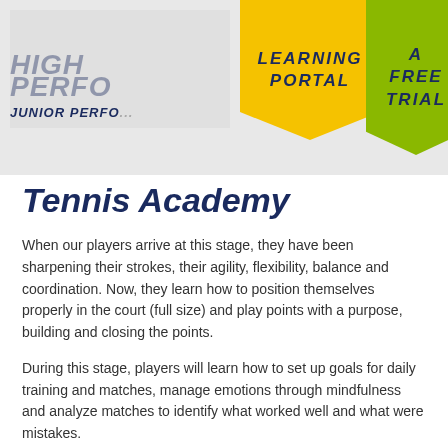[Figure (other): Website header with logo area showing 'JUNIOR PERFORMANCE' text, a yellow banner reading 'LEARNING PORTAL', and a green banner reading 'A FREE TRIAL']
Tennis Academy
When our players arrive at this stage, they have been sharpening their strokes, their agility, flexibility, balance and coordination. Now, they learn how to position themselves properly in the court (full size) and play points with a purpose, building and closing the points.
During this stage, players will learn how to set up goals for daily training and matches, manage emotions through mindfulness and analyze matches to identify what worked well and what were mistakes.
Designed for 11+ years old. Court size: 8.23m/23.77m (Full Court) – ANZ Hotshots Stage: Yellow – Ball Stage: Yellow